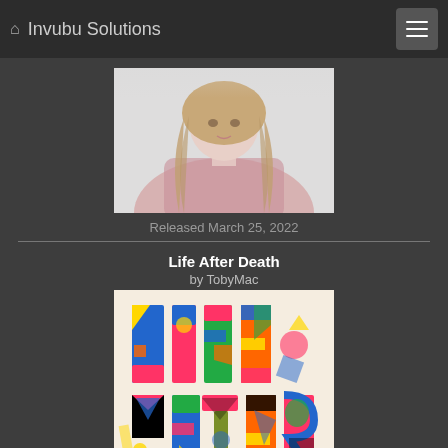Invubu Solutions
[Figure (photo): Portrait photo of a woman with long hair wearing a pink top, light background]
Released March 25, 2022
Life After Death
by TobyMac
[Figure (photo): Album cover for 'Life After Death' showing colorful stylized text spelling LIFE AFTER on a cream background]